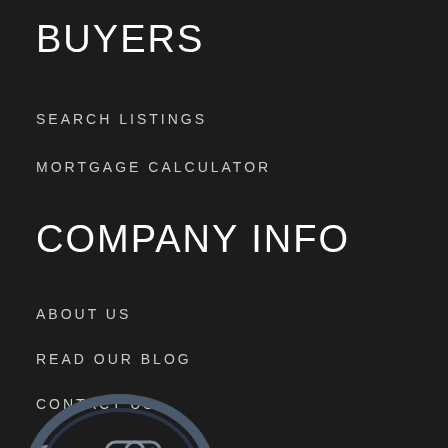BUYERS
SEARCH LISTINGS
MORTGAGE CALCULATOR
COMPANY INFO
ABOUT US
READ OUR BLOG
CONTACT US
[Figure (illustration): Social media icons: Facebook (f) and Instagram (camera/circle icon)]
[Figure (logo): Partial circular logo at bottom of page, dark blue/grey tones]